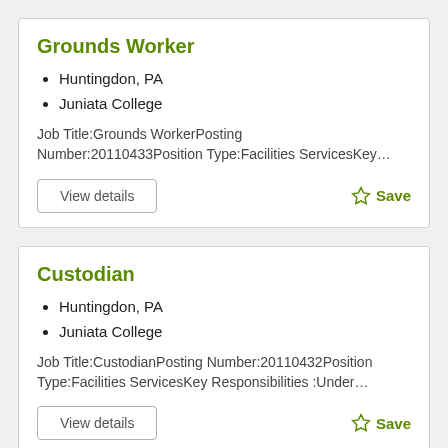Grounds Worker
Huntingdon, PA
Juniata College
Job Title:Grounds WorkerPosting Number:20110433Position Type:Facilities ServicesKey…
View details
Save
Custodian
Huntingdon, PA
Juniata College
Job Title:CustodianPosting Number:20110432Position Type:Facilities ServicesKey Responsibilities :Under…
View details
Save